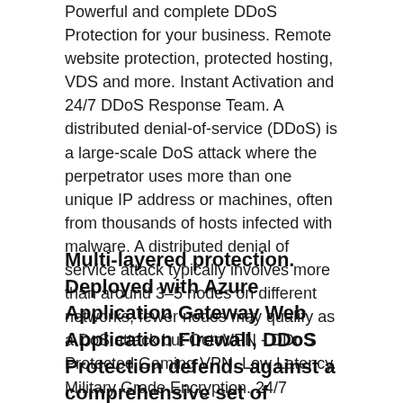Powerful and complete DDoS Protection for your business. Remote website protection, protected hosting, VDS and more. Instant Activation and 24/7 DDoS Response Team. A distributed denial-of-service (DDoS) is a large-scale DoS attack where the perpetrator uses more than one unique IP address or machines, often from thousands of hosts infected with malware. A distributed denial of service attack typically involves more than around 3–5 nodes on different networks; fewer nodes may qualify as a DoS attack but OctoVPN - DDoS Protected Gaming VPN. Low Latency. Military Grade Encryption. 24/7 Support.
Multi-layered protection. Deployed with Azure Application Gateway Web Application Firewall, DDoS Protection defends against a comprehensive set of network layer (layer 3/4) attacks, and protects web apps from common application layer (layer 7) attacks